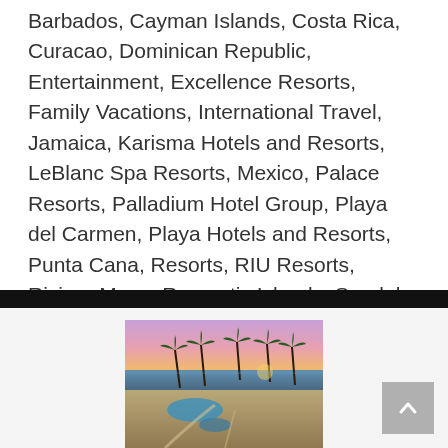Barbados, Cayman Islands, Costa Rica, Curacao, Dominican Republic, Entertainment, Excellence Resorts, Family Vacations, International Travel, Jamaica, Karisma Hotels and Resorts, LeBlanc Spa Resorts, Mexico, Palace Resorts, Palladium Hotel Group, Playa del Carmen, Playa Hotels and Resorts, Punta Cana, Resorts, RIU Resorts, Riviera Maya, Romantic Islands, Sandals Resorts, St. Lucia, Vacation Packages, Zoetry
[Figure (photo): Aerial/elevated view of a tropical resort at sunset/dusk with palm trees, a swimming pool, and ocean in the background under a pink and purple sky.]